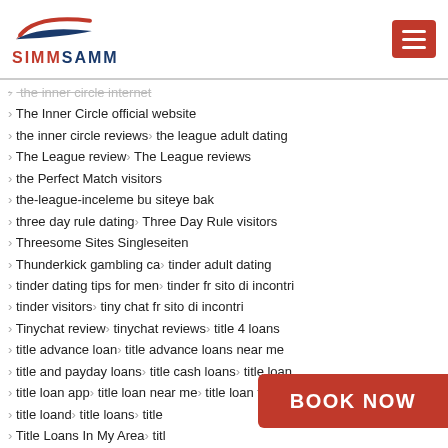[Figure (logo): SIMMSAMM logo with red and blue swoosh above the brand name]
the inner circle internet
The Inner Circle official website
the inner circle reviews > the league adult dating
The League review > The League reviews
the Perfect Match visitors
the-league-inceleme bu siteye bak
three day rule dating > Three Day Rule visitors
Threesome Sites Singleseiten
Thunderkick gambling ca > tinder adult dating
tinder dating tips for men > tinder fr sito di incontri
tinder visitors > tiny chat fr sito di incontri
Tinychat review > tinychat reviews > title 4 loans
title advance loan > title advance loans near me
title and payday loans > title cash loans > title loan
title loan app > title loan near me > title loan today
title loand > title loans > title...
Title Loans In My Area > titl...